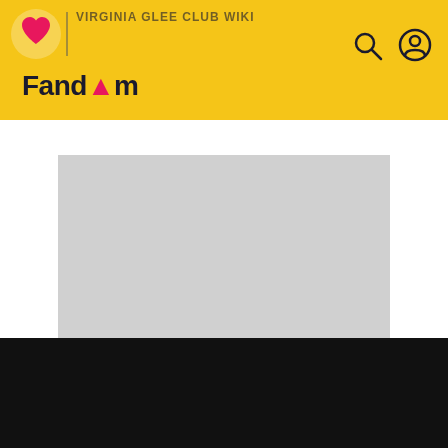Fandom — Virginia Glee Club Wiki
[Figure (screenshot): Advertisement placeholder (grey box)]
ADVERTISEMENT
VIRGINIA GLEE CLUB WIKI
John A. Morrow
EDIT